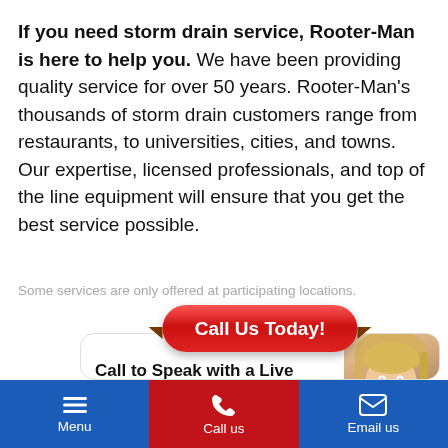If you need storm drain service, Rooter-Man is here to help you. We have been providing quality service for over 50 years. Rooter-Man's thousands of storm drain customers range from restaurants, to universities, cities, and towns. Our expertise, licensed professionals, and top of the line equipment will ensure that you get the best service possible.
Some services are only offered at participating locations.
[Figure (infographic): Call Us Today! banner button with red gradient and brown folded corners, above a card with 'Call to Speak with a Live Operator!' text and a partial photo of a blonde woman]
Menu   Call us   Email us